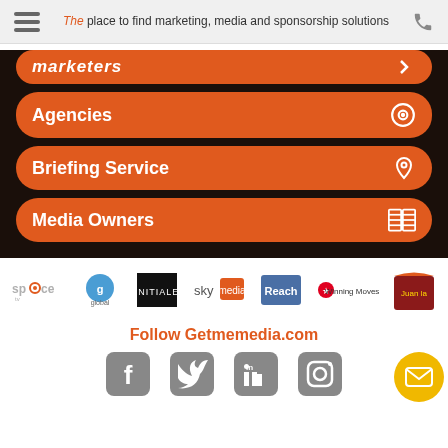The place to find marketing, media and sponsorship solutions
Marketers
Agencies
Briefing Service
Media Owners
[Figure (logo): Logos strip: space, Global, Initiale, sky media, Reach, Winning Moves, Jinja (decorative brand)]
Follow Getmemedia.com
[Figure (infographic): Social media icons: Facebook, Twitter, LinkedIn, Instagram]